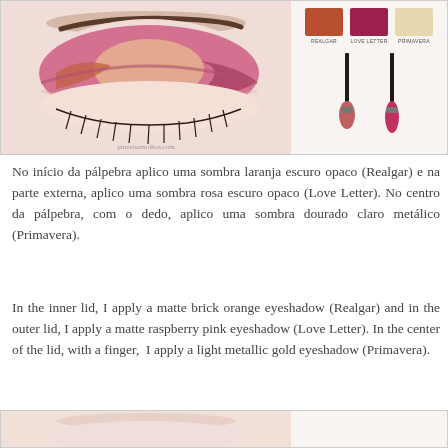[Figure (photo): Close-up photo of a closed eye with pink and orange eyeshadow makeup look, alongside product swatches (Realgar, Love Letter, Primavera) and two makeup brushes on the right side]
No início da pálpebra aplico uma sombra laranja escuro opaco (Realgar) e na parte externa, aplico uma sombra rosa escuro opaco (Love Letter). No centro da pálpebra, com o dedo, aplico uma sombra dourado claro metálico (Primavera).
In the inner lid, I apply a matte brick orange eyeshadow (Realgar) and in the outer lid, I apply a matte raspberry pink eyeshadow (Love Letter). In the center of the lid, with a finger,  I apply a light metallic gold eyeshadow (Primavera).
[Figure (photo): Partial view of another eye makeup look photo at the bottom of the page]